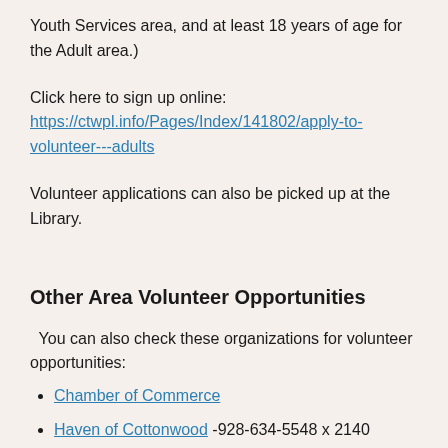Youth Services area, and at least 18 years of age for the Adult area.)
Click here to sign up online: https://ctwpl.info/Pages/Index/141802/apply-to-volunteer---adults
Volunteer applications can also be picked up at the Library.
Other Area Volunteer Opportunities
You can also check these organizations for volunteer opportunities:
Chamber of Commerce
Haven of Cottonwood -928-634-5548 x 2140
Partners on Patrol